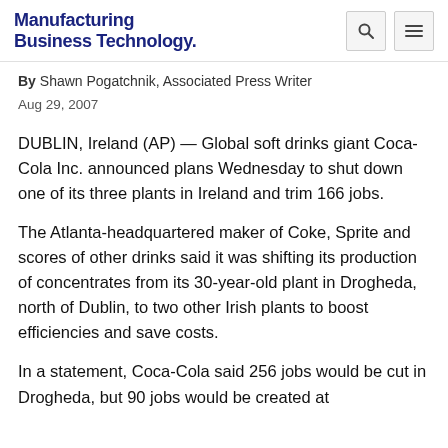Manufacturing Business Technology
By Shawn Pogatchnik, Associated Press Writer
Aug 29, 2007
DUBLIN, Ireland (AP) — Global soft drinks giant Coca-Cola Inc. announced plans Wednesday to shut down one of its three plants in Ireland and trim 166 jobs.
The Atlanta-headquartered maker of Coke, Sprite and scores of other drinks said it was shifting its production of concentrates from its 30-year-old plant in Drogheda, north of Dublin, to two other Irish plants to boost efficiencies and save costs.
In a statement, Coca-Cola said 256 jobs would be cut in Drogheda, but 90 jobs would be created at